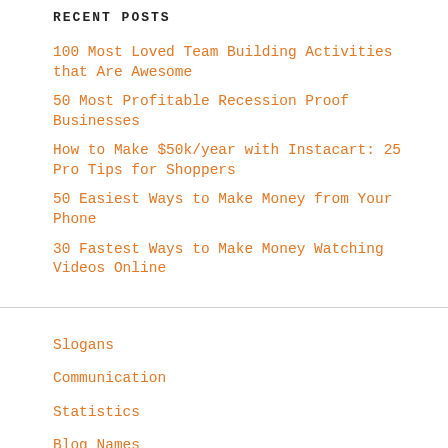RECENT POSTS
100 Most Loved Team Building Activities that Are Awesome
50 Most Profitable Recession Proof Businesses
How to Make $50k/year with Instacart: 25 Pro Tips for Shoppers
50 Easiest Ways to Make Money from Your Phone
30 Fastest Ways to Make Money Watching Videos Online
Slogans
Communication
Statistics
Blog Names